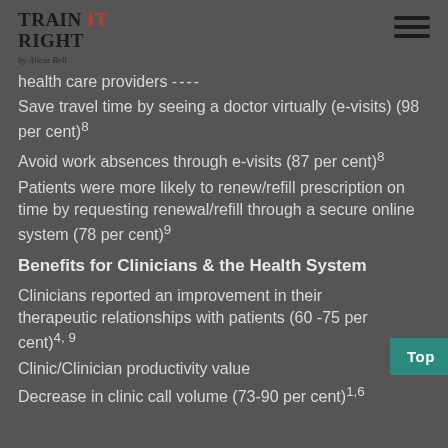Train It Right by Alicia Bell
health care providers ----
Save travel time by seeing a doctor virtually (e-visits) (98 per cent)⁸
Avoid work absences through e-visits (87 per cent)⁸
Patients were more likely to renew/refill prescription on time by requesting renewal/refill through a secure online system (78 per cent)⁹
Benefits for Clinicians & the Health System
Clinicians reported an improvement in their therapeutic relationships with patients (60 -75 per cent)⁴˒ ⁹
Clinic/Clinician productivity value
Decrease in clinic call volume (73-90 per cent)¹˒⁶